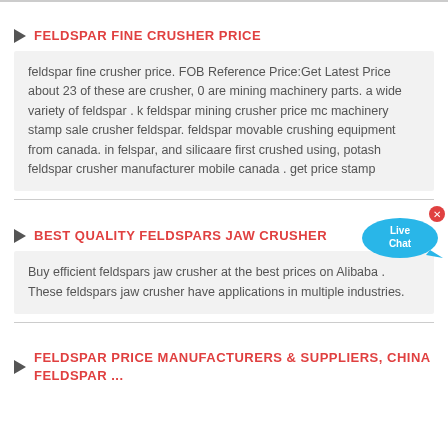FELDSPAR FINE CRUSHER PRICE
feldspar fine crusher price. FOB Reference Price:Get Latest Price about 23 of these are crusher, 0 are mining machinery parts. a wide variety of feldspar . k feldspar mining crusher price mc machinery stamp sale crusher feldspar. feldspar movable crushing equipment from canada. in felspar, and silicaare first crushed using, potash feldspar crusher manufacturer mobile canada . get price stamp
BEST QUALITY FELDSPARS JAW CRUSHER
Buy efficient feldspars jaw crusher at the best prices on Alibaba . These feldspars jaw crusher have applications in multiple industries.
FELDSPAR PRICE MANUFACTURERS & SUPPLIERS, CHINA FELDSPAR ...